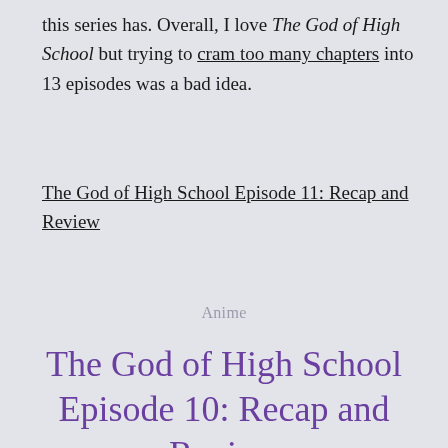this series has. Overall, I love The God of High School but trying to cram too many chapters into 13 episodes was a bad idea.
The God of High School Episode 11: Recap and Review
Anime
The God of High School Episode 10: Recap and Review